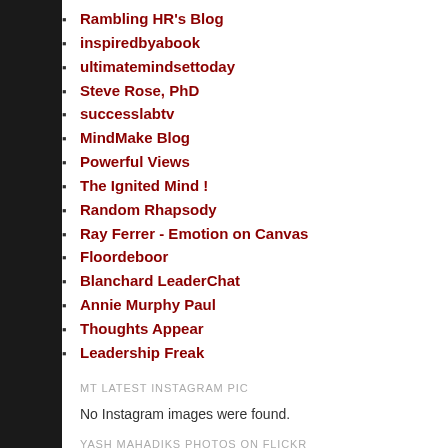Rambling HR's Blog
inspiredbyabook
ultimatemindsettoday
Steve Rose, PhD
successlabtv
MindMake Blog
Powerful Views
The Ignited Mind !
Random Rhapsody
Ray Ferrer - Emotion on Canvas
Floordeboor
Blanchard LeaderChat
Annie Murphy Paul
Thoughts Appear
Leadership Freak
MT LATEST INSTAGRAM PIC
No Instagram images were found.
YASH MAHADIKS PHOTOS ON FLICKR